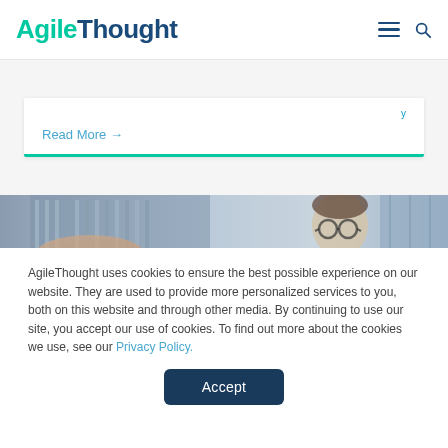AgileThought
Read More →
[Figure (photo): Photo strip showing a person working with server hardware and a woman wearing glasses in an office or data center environment]
AgileThought uses cookies to ensure the best possible experience on our website. They are used to provide more personalized services to you, both on this website and through other media. By continuing to use our site, you accept our use of cookies. To find out more about the cookies we use, see our Privacy Policy.
Accept